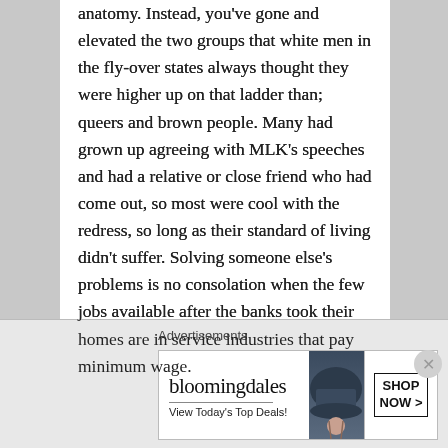anatomy. Instead, you've gone and elevated the two groups that white men in the fly-over states always thought they were higher up on that ladder than; queers and brown people. Many had grown up agreeing with MLK's speeches and had a relative or close friend who had come out, so most were cool with the redress, so long as their standard of living didn't suffer. Solving someone else's problems is no consolation when the few jobs available after the banks took their homes are in service industries that pay minimum wage.
Advertisements
[Figure (other): Bloomingdale's advertisement banner with logo, 'View Today's Top Deals!' tagline, woman in large hat, and 'SHOP NOW >' button]